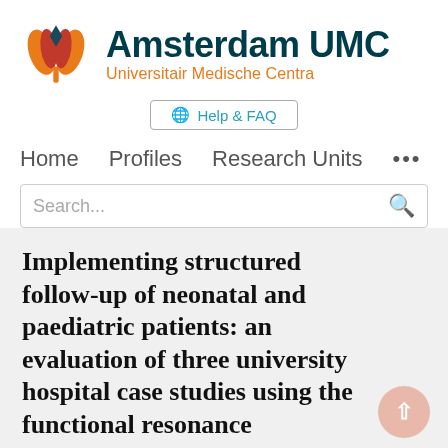[Figure (logo): Amsterdam UMC logo with tulip icon in orange, red, and teal, with text 'Amsterdam UMC' in dark teal and 'Universitair Medische Centra' in orange below]
Help & FAQ
Home   Profiles   Research Units   ...
Search...
Implementing structured follow-up of neonatal and paediatric patients: an evaluation of three university hospital case studies using the functional resonance